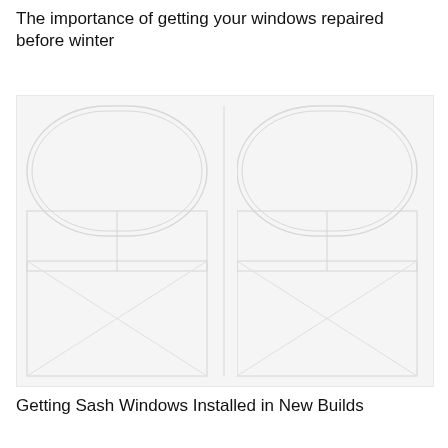The importance of getting your windows repaired before winter
[Figure (photo): Placeholder image of windows, shown as a light grey box with faint geometric window frame outlines]
Getting Sash Windows Installed in New Builds